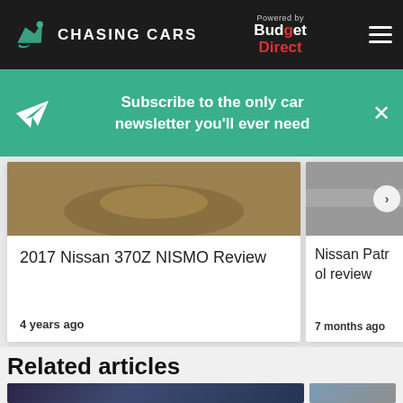CHASING CARS — Powered by Budget Direct
Subscribe to the only car newsletter you'll ever need
[Figure (screenshot): Car article card showing 2017 Nissan 370Z NISMO Review, 4 years ago]
2017 Nissan 370Z NISMO Review
4 years ago
[Figure (screenshot): Partially visible car article card showing Nissan Patrol review, 7 months ago]
Nissan Patr... review
7 months ago
Related articles
[Figure (photo): Dark moody landscape photo with mountains]
[Figure (photo): Blurred cityscape photo]